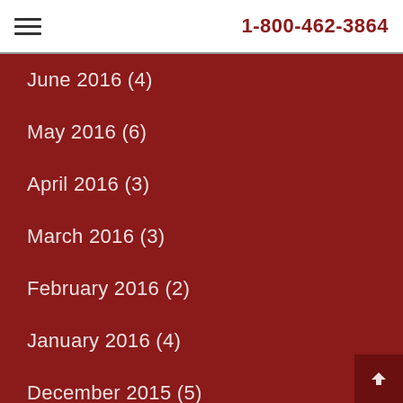1-800-462-3864
June 2016 (4)
May 2016 (6)
April 2016 (3)
March 2016 (3)
February 2016 (2)
January 2016 (4)
December 2015 (5)
November 2015 (9)